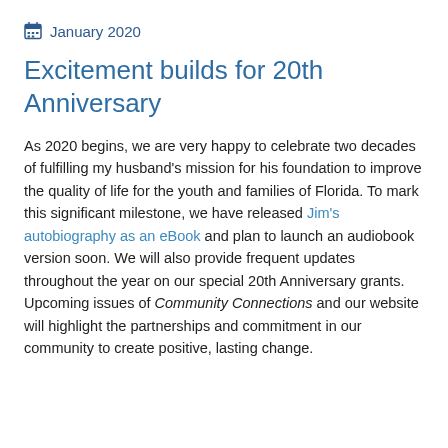January 2020
Excitement builds for 20th Anniversary
As 2020 begins, we are very happy to celebrate two decades of fulfilling my husband's mission for his foundation to improve the quality of life for the youth and families of Florida. To mark this significant milestone, we have released Jim's autobiography as an eBook and plan to launch an audiobook version soon. We will also provide frequent updates throughout the year on our special 20th Anniversary grants. Upcoming issues of Community Connections and our website will highlight the partnerships and commitment in our community to create positive, lasting change.